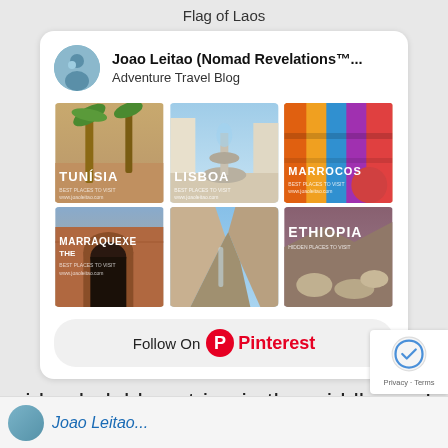Flag of Laos
[Figure (screenshot): Pinterest widget card for Joao Leitao (Nomad Revelations) Adventure Travel Blog, showing a 2x3 grid of travel destination images (Tunísia, Lisboa, Marrocos, Marraquexe, unnamed canyon, Ethiopia) and a 'Follow On Pinterest' button]
wide, dark blue stripe in the middle, and
[Figure (screenshot): Partial bottom section showing a profile avatar and partial text, with reCAPTCHA badge overlay showing 'Privacy - Terms']